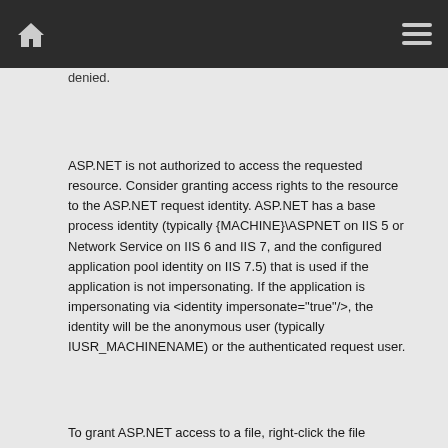navigation bar with home icon and menu icon
denied.
ASP.NET is not authorized to access the requested resource. Consider granting access rights to the resource to the ASP.NET request identity. ASP.NET has a base process identity (typically {MACHINE}\ASPNET on IIS 5 or Network Service on IIS 6 and IIS 7, and the configured application pool identity on IIS 7.5) that is used if the application is not impersonating. If the application is impersonating via <identity impersonate="true"/>, the identity will be the anonymous user (typically IUSR_MACHINENAME) or the authenticated request user.
To grant ASP.NET access to a file, right-click the file